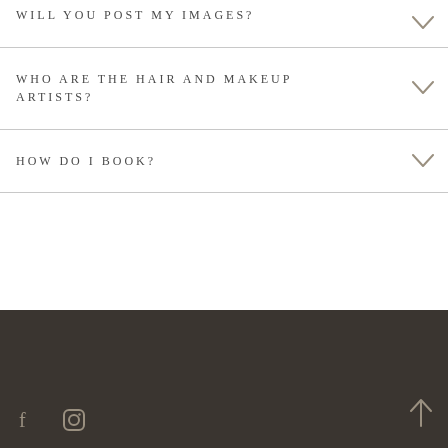WILL YOU POST MY IMAGES?
WHO ARE THE HAIR AND MAKEUP ARTISTS?
HOW DO I BOOK?
Footer with social icons (Facebook, Instagram) and scroll-to-top arrow